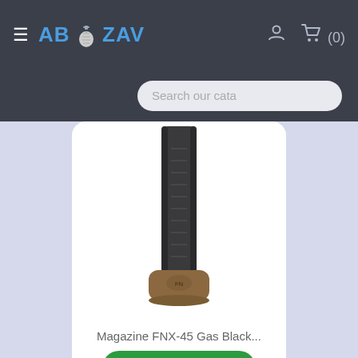ABZAV — hamburger menu, logo, user icon, cart (0), search bar
[Figure (photo): A firearm magazine (FNX-45 Gas Black) standing vertically, dark metalite body with a tan/brown polymer base plate, product photo on white background]
Magazine FNX-45 Gas Black...
ADD TO CART
€39.90